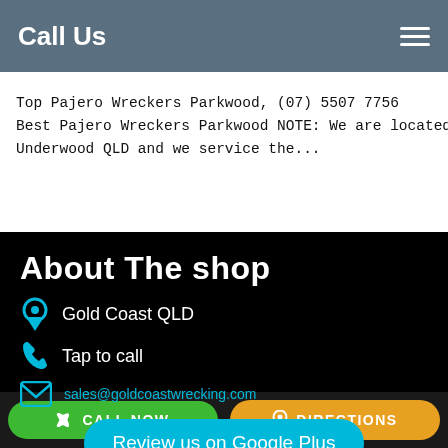Call Us
Top Pajero Wreckers Parkwood, (07) 5507 7756
Best Pajero Wreckers Parkwood NOTE: We are located in Underwood QLD and we service the...
About The shop
Gold Coast QLD
Tap to call
sales@goldcoastwrecking.com
Review us on Google Plus
CALL NOW   DIRECTIONS